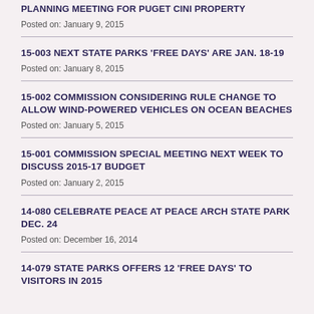PLANNING MEETING FOR PUGET CINI PROPERTY
Posted on: January 9, 2015
15-003 NEXT STATE PARKS 'FREE DAYS' ARE JAN. 18-19
Posted on: January 8, 2015
15-002 COMMISSION CONSIDERING RULE CHANGE TO ALLOW WIND-POWERED VEHICLES ON OCEAN BEACHES
Posted on: January 5, 2015
15-001 COMMISSION SPECIAL MEETING NEXT WEEK TO DISCUSS 2015-17 BUDGET
Posted on: January 2, 2015
14-080 CELEBRATE PEACE AT PEACE ARCH STATE PARK DEC. 24
Posted on: December 16, 2014
14-079 STATE PARKS OFFERS 12 'FREE DAYS' TO VISITORS IN 2015